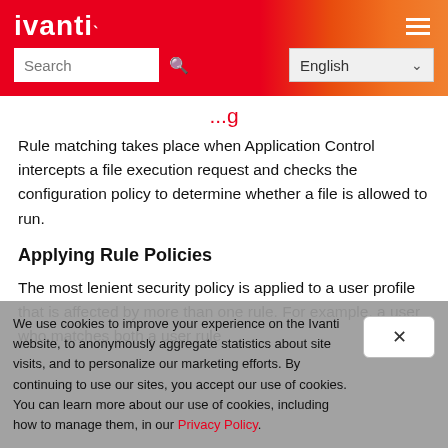ivanti
Rule matching takes place when Application Control intercepts a file execution request and checks the configuration policy to determine whether a file is allowed to run.
Applying Rule Policies
The most lenient security policy is applied to a user profile that is affected by more than one rule. For example, a user who matches both a user rule
We use cookies to improve your experience on the Ivanti website, to anonymously aggregate statistics about site visits, and to personalize our marketing efforts. By continuing to use our sites, you accept our use of cookies. You can learn more about our use of cookies, including how to manage them, in our Privacy Policy.